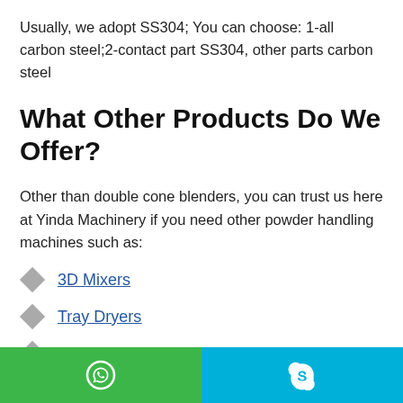Usually, we adopt SS304; You can choose: 1-all carbon steel;2-contact part SS304, other parts carbon steel
What Other Products Do We Offer?
Other than double cone blenders, you can trust us here at Yinda Machinery if you need other powder handling machines such as:
3D Mixers
Tray Dryers
V Mixers and Blenders
WhatsApp | Skype